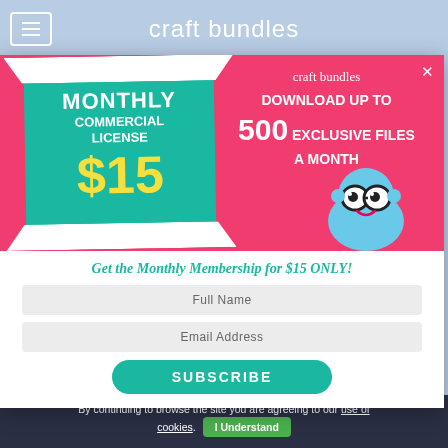craft bundles
[Figure (screenshot): Modal popup for craft bundles monthly membership. Pink banner with teal card showing 'MONTHLY COMMERCIAL LICENSE $15' and text 'DOWNLOAD UP TO 500 EXCLUSIVE FILES A MONTH' with a cute mascot character wearing glasses.]
Get the Monthly Membership for $15 ONLY!
Full Name
Email Address
SUBSCRIBE
By continuing to browse the site you are agreeing to our use of cookies. I Understand